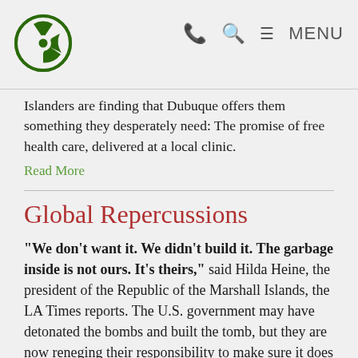[Radioactive logo] [phone icon] [search icon] [menu icon] MENU
Islanders are finding that Dubuque offers them something they desperately need: The promise of free health care, delivered at a local clinic.
Read More
Global Repercussions
“We don’t want it. We didn’t build it. The garbage inside is not ours. It’s theirs,” said Hilda Heine, the president of the Republic of the Marshall Islands, the LA Times reports. The U.S. government may have detonated the bombs and built the tomb, but they are now reneging their responsibility to make sure it does its job, placing